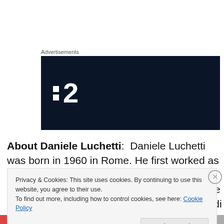Advertisements
[Figure (logo): Dark navy banner ad with white geometric logo: two small white squares stacked on left and a large white number 2 on the right, resembling a TV channel or media brand logo (P2 or similar).]
About Daniele Luchetti:  Daniele Luchetti was born in 1960 in Rome. He first worked as an actor and later as an assistant director to Nanni Moretti.  The first film of his own that he directed, Domani accadrà, received a David di
Privacy & Cookies: This site uses cookies. By continuing to use this website, you agree to their use.
To find out more, including how to control cookies, see here: Cookie Policy
Close and accept